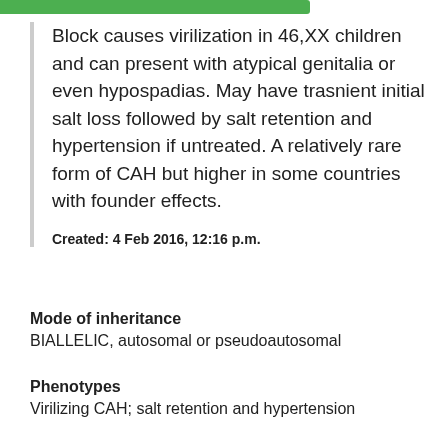Block causes virilization in 46,XX children and can present with atypical genitalia or even hypospadias. May have trasnient initial salt loss followed by salt retention and hypertension if untreated. A relatively rare form of CAH but higher in some countries with founder effects.
Created: 4 Feb 2016, 12:16 p.m.
Mode of inheritance
BIALLELIC, autosomal or pseudoautosomal
Phenotypes
Virilizing CAH; salt retention and hypertension